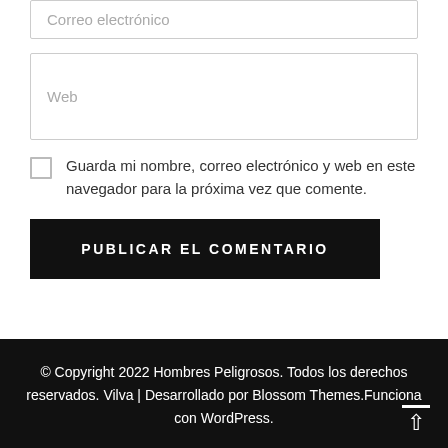Correo electrónico
Web
Guarda mi nombre, correo electrónico y web en este navegador para la próxima vez que comente.
PUBLICAR EL COMENTARIO
© Copyright 2022 Hombres Peligrosos. Todos los derechos reservados. Vilva | Desarrollado por Blossom Themes.Funciona con WordPress.